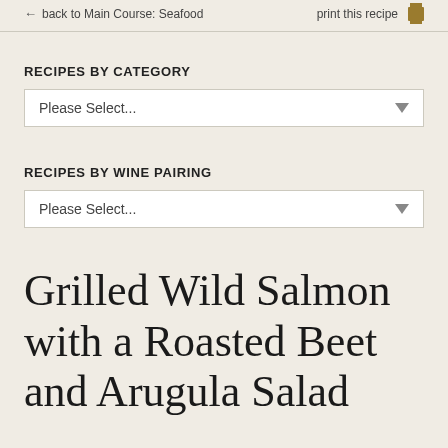← back to Main Course: Seafood    print this recipe
RECIPES BY CATEGORY
Please Select...
RECIPES BY WINE PAIRING
Please Select...
Grilled Wild Salmon with a Roasted Beet and Arugula Salad